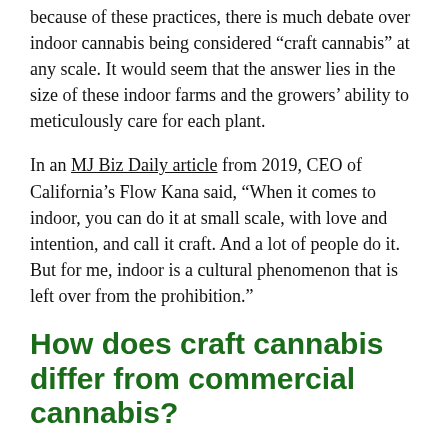because of these practices, there is much debate over indoor cannabis being considered “craft cannabis” at any scale. It would seem that the answer lies in the size of these indoor farms and the growers’ ability to meticulously care for each plant.
In an MJ Biz Daily article from 2019, CEO of California’s Flow Kana said, “When it comes to indoor, you can do it at small scale, with love and intention, and call it craft. And a lot of people do it. But for me, indoor is a cultural phenomenon that is left over from the prohibition.”
How does craft cannabis differ from commercial cannabis?
There are many differentiators between growing craft and commercial cannabis. In my conversations with Horton and Leibowitz, I found that it all boils down to